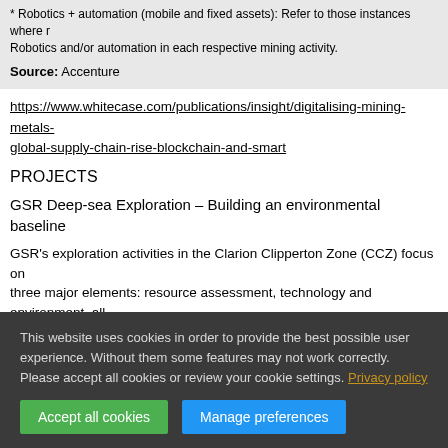* Robotics + automation (mobile and fixed assets): Refer to those instances where robotics and/or automation in each respective mining activity.
Source: Accenture
https://www.whitecase.com/publications/insight/digitalising-mining-metals-global-supply-chain-rise-blockchain-and-smart
PROJECTS
GSR Deep-sea Exploration – Building an environmental baseline
GSR's exploration activities in the Clarion Clipperton Zone (CCZ) focus on three major elements: resource assessment, technology and environment, all
This website uses cookies in order to provide the best possible user experience. Without them some features may not work correctly. Please accept all cookies or review your cookie settings. Privacy policy
Accept all cookies
Manage preferences